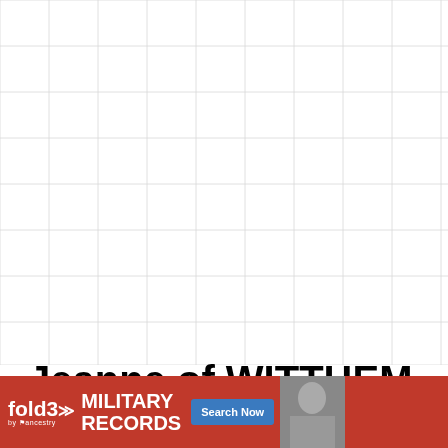[Figure (other): Grid of empty white cells with light gray borders, forming a genealogy chart or pedigree table layout]
Jeanne of WITTHEM
[Figure (other): Advertisement banner for fold3 by Ancestry - Military Records, Search Now button, with photo of soldier]